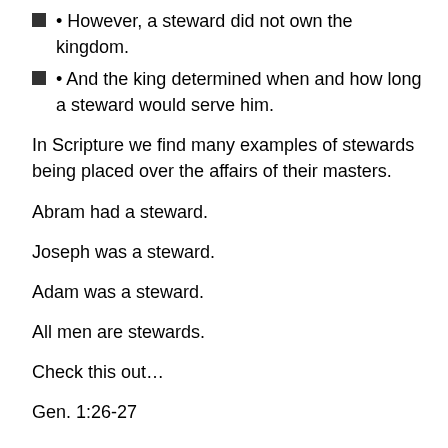• However, a steward did not own the kingdom.
• And the king determined when and how long a steward would serve him.
In Scripture we find many examples of stewards being placed over the affairs of their masters.
Abram had a steward.
Joseph was a steward.
Adam was a steward.
All men are stewards.
Check this out…
Gen. 1:26-27